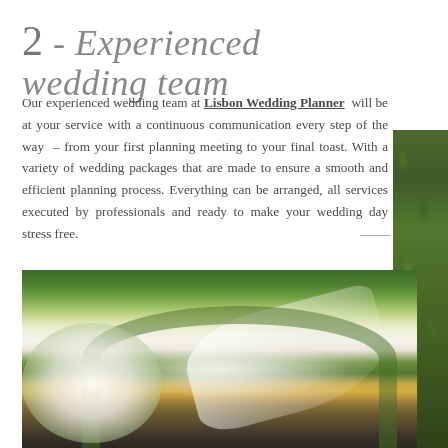2 - Experienced wedding team
Our experienced wedding team at Lisbon Wedding Planner will be at your service with a continuous communication every step of the way – from your first planning meeting to your final toast. With a variety of wedding packages that are made to ensure a smooth and efficient planning process. Everything can be arranged, all services executed by professionals and ready to make your wedding day stress free.
[Figure (photo): Wedding venue decorated with lush green foliage arch, white roses, and a white draped canopy over an elegant outdoor reception space with arched windows and dining tables visible in the background.]